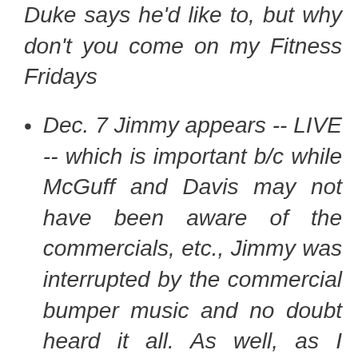Duke says he'd like to, but why don't you come on my Fitness Fridays
Dec. 7 Jimmy appears -- LIVE -- which is important b/c while McGuff and Davis may not have been aware of the commercials, etc., Jimmy was interrupted by the commercial bumper music and no doubt heard it all. As well, as I posted on my blog and the end of my audio comments on the JimKKKins post, Duke